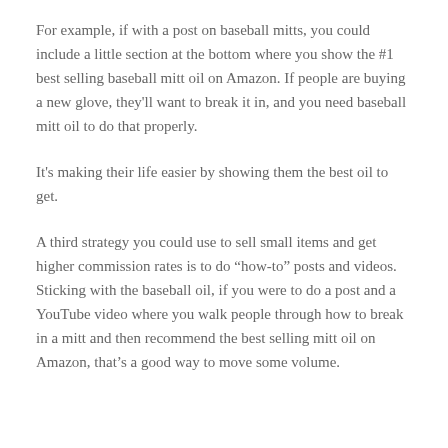For example, if with a post on baseball mitts, you could include a little section at the bottom where you show the #1 best selling baseball mitt oil on Amazon. If people are buying a new glove, they'll want to break it in, and you need baseball mitt oil to do that properly.
It's making their life easier by showing them the best oil to get.
A third strategy you could use to sell small items and get higher commission rates is to do “how-to” posts and videos. Sticking with the baseball oil, if you were to do a post and a YouTube video where you walk people through how to break in a mitt and then recommend the best selling mitt oil on Amazon, that’s a good way to move some volume.